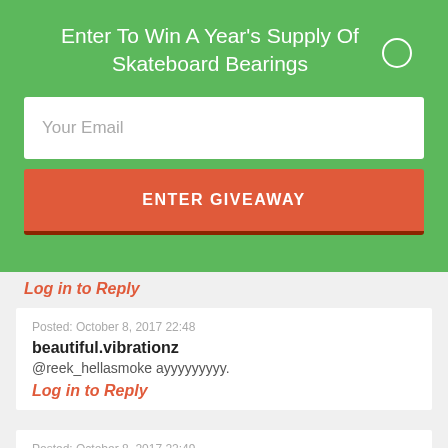Enter To Win A Year's Supply Of Skateboard Bearings
[Figure (other): Email input field with placeholder text 'Your Email']
[Figure (other): Red button labeled 'ENTER GIVEAWAY']
Log in to Reply
Posted: October 8, 2017 22:48
beautiful.vibrationz
@reek_hellasmoke ayyyyyyyyy.
Log in to Reply
Posted: October 8, 2017 22:49
beautiful.vibrationz
@rolling_st0n3r yerrrrrrrr.